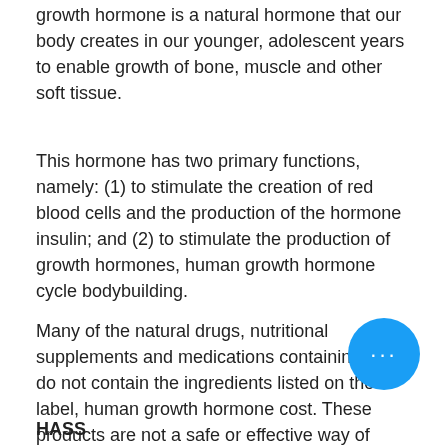growth hormone is a natural hormone that our body creates in our younger, adolescent years to enable growth of bone, muscle and other soft tissue.
This hormone has two primary functions, namely: (1) to stimulate the creation of red blood cells and the production of the hormone insulin; and (2) to stimulate the production of growth hormones, human growth hormone cycle bodybuilding.
Many of the natural drugs, nutritional supplements and medications containing HGH do not contain the ingredients listed on the label, human growth hormone cost. These products are not a safe or effective way of supplying HGH to children, adolescents, adults or anyone else, human growth hormone 100iu.
HASS